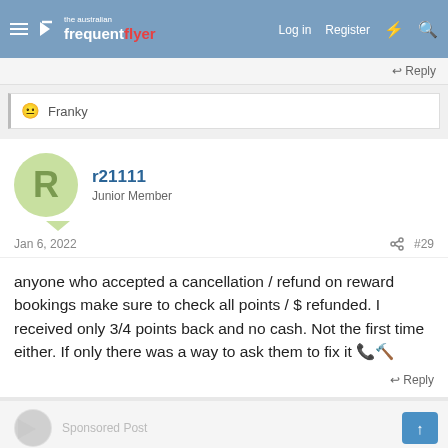Australian Frequent Flyer — Log in | Register
Reply
😐 Franky
r21111
Junior Member
Jan 6, 2022   #29
anyone who accepted a cancellation / refund on reward bookings make sure to check all points / $ refunded. I received only 3/4 points back and no cash. Not the first time either. If only there was a way to ask them to fix it 📞🔨
Reply
Sponsored Post